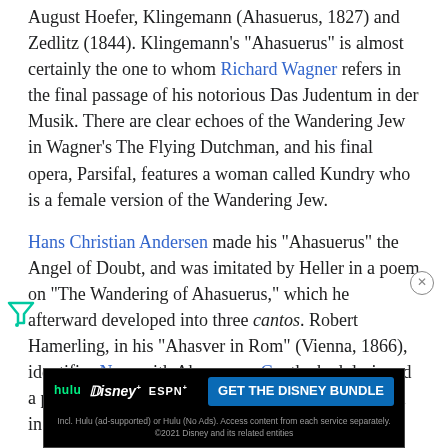August Hoefer, Klingemann (Ahasuerus, 1827) and Zedlitz (1844). Klingemann's "Ahasuerus" is almost certainly the one to whom Richard Wagner refers in the final passage of his notorious Das Judentum in der Musik. There are clear echoes of the Wandering Jew in Wagner's The Flying Dutchman, and his final opera, Parsifal, features a woman called Kundry who is a female version of the Wandering Jew.
Hans Christian Andersen made his "Ahasuerus" the Angel of Doubt, and was imitated by Heller in a poem on "The Wandering of Ahasuerus," which he afterward developed into three cantos. Robert Hamerling, in his "Ahasver in Rom" (Vienna, 1866), identifies Nero with Ahasuerus. Goethe had designed a poem on the subject, the plot of which he sketched in his "Dichtung und Wahrheit."
[Figure (screenshot): Advertisement banner for Disney Bundle featuring Hulu, Disney+, and ESPN+. Dark background with 'GET THE DISNEY BUNDLE' call-to-action button. Disclaimer text reads: Incl. Hulu (ad-supported) or Hulu (No Ads). Access content from each service separately. ©2021 Disney and its related entities]